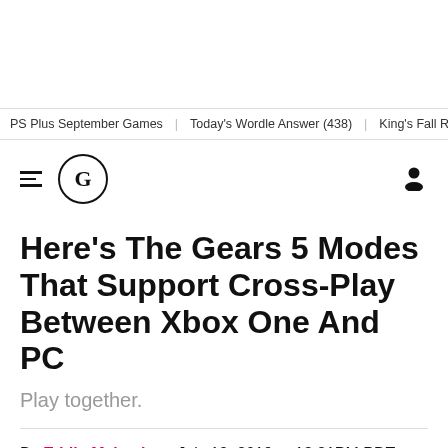PS Plus September Games | Today's Wordle Answer (438) | King's Fall Raid Guide | PS P
G (GameSpot logo)
Here's The Gears 5 Modes That Support Cross-Play Between Xbox One And PC
Play together.
By Eddie Makuch on July 19, 2019 at 12:21PM PDT
Like Gears of War 4, this year's Gears 5 will support cross-play